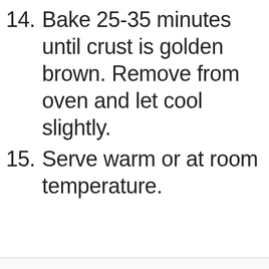14. Bake 25-35 minutes until crust is golden brown. Remove from oven and let cool slightly.
15. Serve warm or at room temperature.